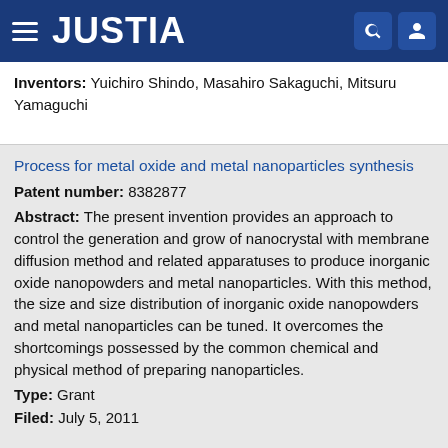JUSTIA
Inventors: Yuichiro Shindo, Masahiro Sakaguchi, Mitsuru Yamaguchi
Process for metal oxide and metal nanoparticles synthesis
Patent number: 8382877
Abstract: The present invention provides an approach to control the generation and grow of nanocrystal with membrane diffusion method and related apparatuses to produce inorganic oxide nanopowders and metal nanoparticles. With this method, the size and size distribution of inorganic oxide nanopowders and metal nanoparticles can be tuned. It overcomes the shortcomings possessed by the common chemical and physical method of preparing nanoparticles.
Type: Grant
Filed: July 5, 2011